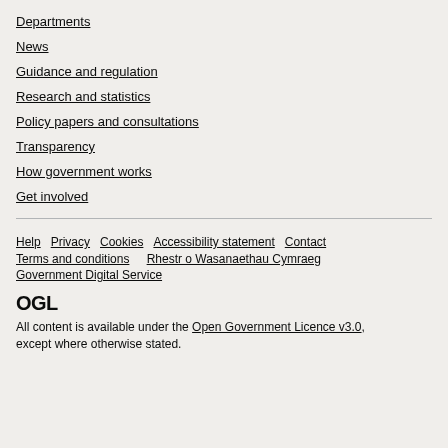Departments
News
Guidance and regulation
Research and statistics
Policy papers and consultations
Transparency
How government works
Get involved
Help  Privacy  Cookies  Accessibility statement  Contact  Terms and conditions  Rhestr o Wasanaethau Cymraeg  Government Digital Service
OGL
All content is available under the Open Government Licence v3.0, except where otherwise stated.